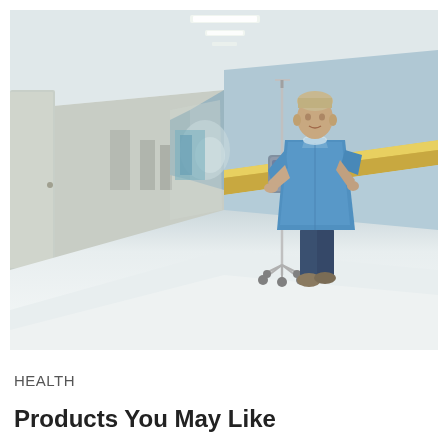[Figure (photo): A hospital corridor with a patient in a blue hospital gown walking while holding an IV pole on wheels. The hallway has light blue walls with a wooden handrail, white floors, and fluorescent ceiling lights. The perspective shows depth down the long corridor.]
HEALTH
Products You May Like